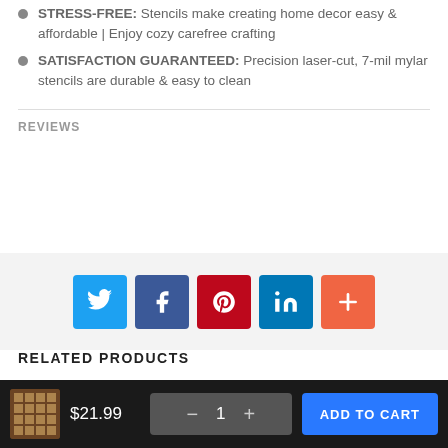STRESS-FREE: Stencils make creating home decor easy & affordable | Enjoy cozy carefree crafting
SATISFACTION GUARANTEED: Precision laser-cut, 7-mil mylar stencils are durable & easy to clean
REVIEWS
[Figure (infographic): Social sharing buttons: Twitter (blue), Facebook (dark blue), Pinterest (red), LinkedIn (teal), More/Plus (orange)]
RELATED PRODUCTS
$21.99  — 1 +  ADD TO CART